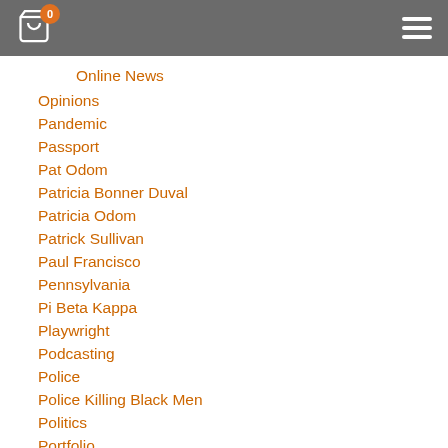Navigation header with cart icon (badge: 0) and hamburger menu
Online News
Opinions
Pandemic
Passport
Pat Odom
Patricia Bonner Duval
Patricia Odom
Patrick Sullivan
Paul Francisco
Pennsylvania
Pi Beta Kappa
Playwright
Podcasting
Police
Police Killing Black Men
Politics
Portfolio
Positive Affirmations
Predictions
President Joe Biden
Print
Progressive
Proud Boys
Purple Heart
Questions To Ask
Race